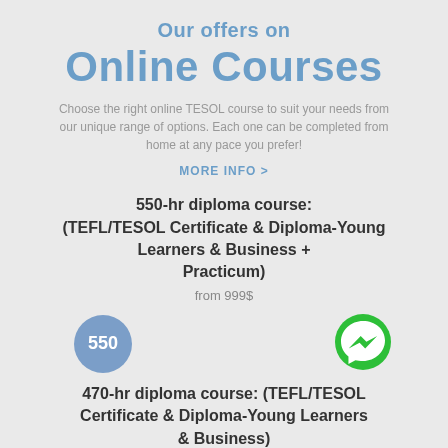Our offers on Online Courses
Choose the right online TESOL course to suit your needs from our unique range of options. Each one can be completed from home at any pace you prefer!
MORE INFO >
550-hr diploma course: (TEFL/TESOL Certificate & Diploma-Young Learners & Business + Practicum)
from 999$
[Figure (infographic): Blue circle badge with '550' text, and green Facebook Messenger icon bubble]
470-hr diploma course: (TEFL/TESOL Certificate & Diploma-Young Learners & Business)